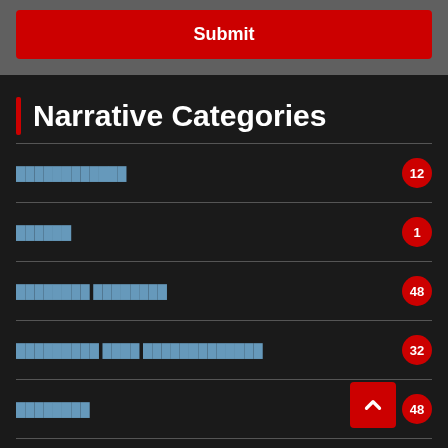[Figure (screenshot): Submit button — red rounded rectangle with white text 'Submit' on a dark gray background]
Narrative Categories
Category item with badge 12
Category item with badge 1
Category item with badge 48
Category item with badge 32
Category item with badge 48
Category item with badge 81